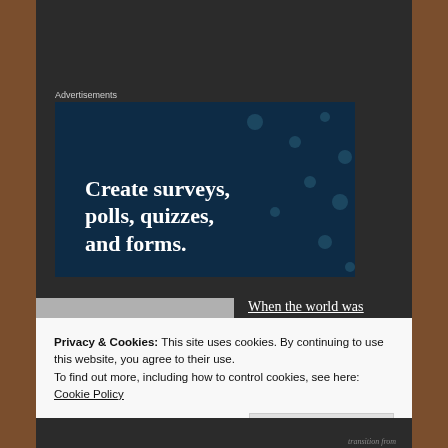Advertisements
[Figure (other): Advertisement banner with dark navy background and polka dot pattern. Bold white text reads: Create surveys, polls, quizzes, and forms.]
[Figure (photo): Black and white photograph showing a person near a building with shingle siding.]
When the world was conquered in the 1650's
Privacy & Cookies: This site uses cookies. By continuing to use this website, you agree to their use.
To find out more, including how to control cookies, see here:
Cookie Policy
Close and accept
transition from